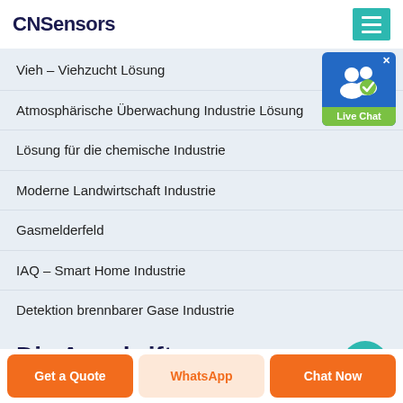CNSensors
Vieh – Viehzucht Lösung
Atmosphärische Überwachung Industrie Lösung
Lösung für die chemische Industrie
Moderne Landwirtschaft Industrie
Gasmelderfeld
IAQ – Smart Home Industrie
Detektion brennbarer Gase Industrie
Die Anschrift
[Figure (screenshot): Live Chat widget with blue background, user icon, and green label]
Get a Quote | WhatsApp | Chat Now